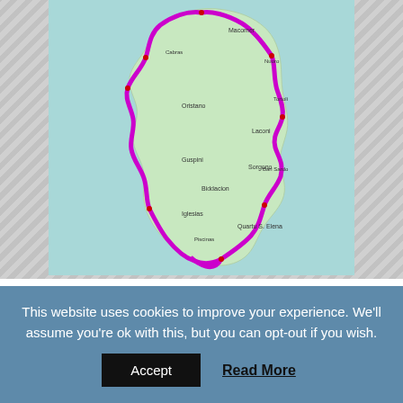[Figure (map): A map of Sardinia, Italy, showing a purple route tracing around the perimeter and interior of the island, with city names and geography visible.]
TRAVEL
SARDINIA 2018 PART 01
25 SEPTEMBER, 2018   OLLI
This website uses cookies to improve your experience. We'll assume you're ok with this, but you can opt-out if you wish.